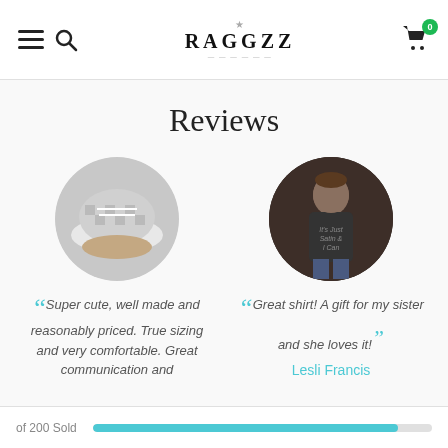RAGGZZ — navigation header with hamburger menu, search, logo, and cart icon
Reviews
[Figure (photo): Circular photo of checkered/plaid sneakers being held]
Super cute, well made and reasonably priced. True sizing and very comfortable. Great communication and
[Figure (photo): Circular photo of a person wearing a dark graphic t-shirt]
Great shirt! A gift for my sister and she loves it!
Lesli Francis
of 200 Sold